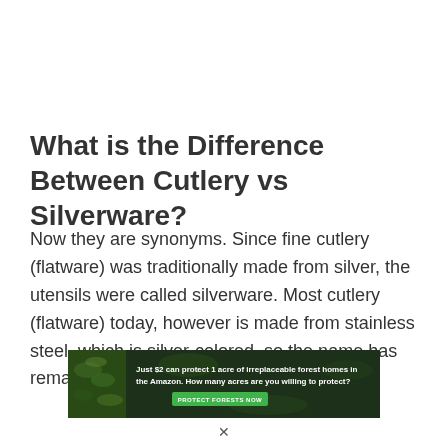What is the Difference Between Cutlery vs Silverware?
Now they are synonyms. Since fine cutlery (flatware) was traditionally made from silver, the utensils were called silverware. Most cutlery (flatware) today, however is made from stainless steel, which is silver-colored, so the name has remained.
[Figure (other): Advertisement banner with a forest/Amazon conservation message. Dark green background with an animal image on the left. Text reads: 'Just $2 can protect 1 acre of irreplaceable forest homes in the Amazon. How many acres are you willing to protect?' with a green 'PROTECT FORESTS NOW' button.]